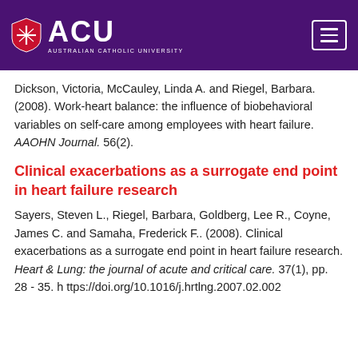ACU - Australian Catholic University
Dickson, Victoria, McCauley, Linda A. and Riegel, Barbara. (2008). Work-heart balance: the influence of biobehavioral variables on self-care among employees with heart failure. AAOHN Journal. 56(2).
Clinical exacerbations as a surrogate end point in heart failure research
Sayers, Steven L., Riegel, Barbara, Goldberg, Lee R., Coyne, James C. and Samaha, Frederick F.. (2008). Clinical exacerbations as a surrogate end point in heart failure research. Heart & Lung: the journal of acute and critical care. 37(1), pp. 28 - 35. https://doi.org/10.1016/j.hrtlng.2007.02.002